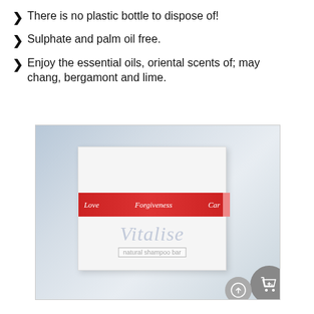There is no plastic bottle to dispose of!
Sulphate and palm oil free.
Enjoy the essential oils, oriental scents of; may chang, bergamont and lime.
[Figure (photo): White rectangular shampoo bar box with a red band reading Love, Forgiveness, Care and Vitalise natural shampoo bar branding, on a light blurred background. A shopping cart icon appears in the lower right corner.]